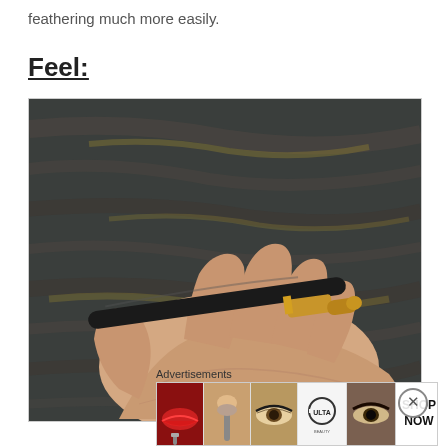feathering much more easily.
Feel:
[Figure (photo): A hand holding a black and gold makeup pencil/liner against a dark wooden background. The pencil rests diagonally across an open palm.]
Advertisements
[Figure (infographic): Advertisement banner for ULTA beauty, showing four images: red lips with brush, makeup brush on face, eye makeup close-up, ULTA logo, and dramatic eye makeup, with a SHOP NOW button on the right.]